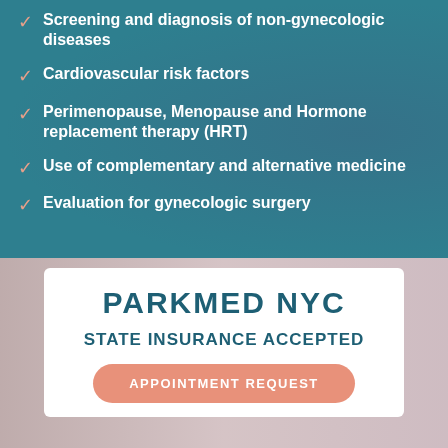Screening and diagnosis of non-gynecologic diseases
Cardiovascular risk factors
Perimenopause, Menopause and Hormone replacement therapy (HRT)
Use of complementary and alternative medicine
Evaluation for gynecologic surgery
PARKMED NYC
STATE INSURANCE ACCEPTED
APPOINTMENT REQUEST